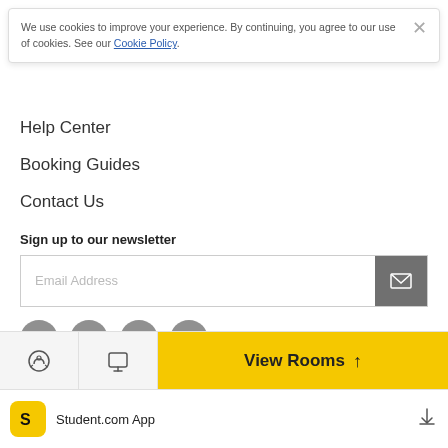We use cookies to improve your experience. By continuing, you agree to our use of cookies. See our Cookie Policy.
Help Center
Booking Guides
Contact Us
Sign up to our newsletter
[Figure (screenshot): Email address input field with a dark grey submit button showing an envelope icon]
[Figure (infographic): Social media icons: Facebook, Twitter, LinkedIn, Instagram — all grey circles with white logos]
[Figure (screenshot): Bottom navigation bar with headset icon, screen icon, and yellow View Rooms button with up arrow]
[Figure (screenshot): App download bar with Student.com yellow app icon, Student.com App text, and download icon]